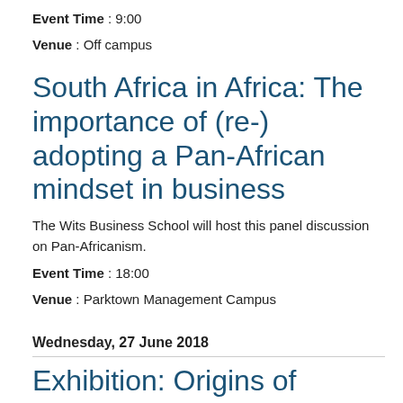Event Time : 9:00
Venue : Off campus
South Africa in Africa: The importance of (re-) adopting a Pan-African mindset in business
The Wits Business School will host this panel discussion on Pan-Africanism.
Event Time : 18:00
Venue : Parktown Management Campus
Wednesday, 27 June 2018
Exhibition: Origins of Sapiens